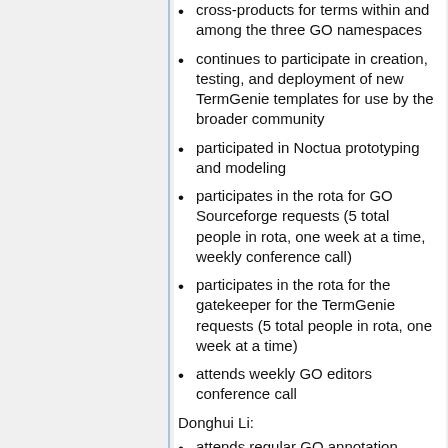cross-products for terms within and among the three GO namespaces
continues to participate in creation, testing, and deployment of new TermGenie templates for use by the broader community
participated in Noctua prototyping and modeling
participates in the rota for GO Sourceforge requests (5 total people in rota, one week at a time, weekly conference call)
participates in the rota for the gatekeeper for the TermGenie requests (5 total people in rota, one week at a time)
attends weekly GO editors conference call
Donghui Li:
attends regular GO annotation